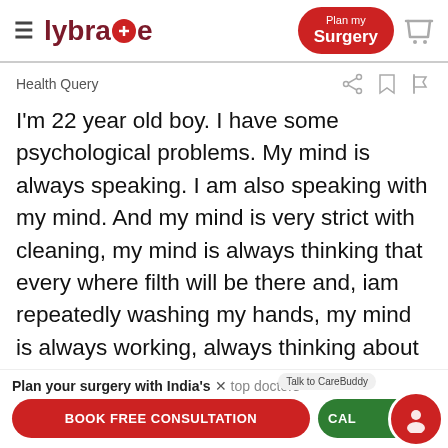lybra+e  |  Plan my Surgery
Health Query
I'm 22 year old boy. I have some psychological problems. My mind is always speaking. I am also speaking with my mind. And my mind is very strict with cleaning, my mind is always thinking that every where filth will be there and, iam repeatedly washing my hands, my mind is always working, always thinking about cleaning only, I can't even sleep, I have this problem from past three years,
Plan your surgery with India's top doctors
Talk to CareBuddy
BOOK FREE CONSULTATION
CALL